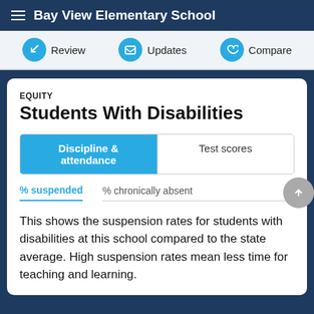Bay View Elementary School
Review | Updates | Compare
EQUITY
Students With Disabilities
Discipline & attendance | Test scores
% suspended | % chronically absent
This shows the suspension rates for students with disabilities at this school compared to the state average. High suspension rates mean less time for teaching and learning.